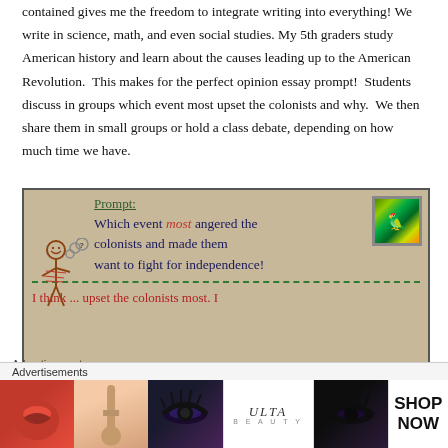contained gives me the freedom to integrate writing into everything! We write in science, math, and even social studies. My 5th graders study American history and learn about the causes leading up to the American Revolution.  This makes for the perfect opinion essay prompt!  Students discuss in groups which event most upset the colonists and why.  We then share them in small groups or hold a class debate, depending on how much time we have.
[Figure (photo): Classroom anchor chart showing writing prompt: 'Which event most angered the colonists and made them want to fight for independence?' with a stick figure drawing, and below a dashed line showing student sentence starter 'I think ... upset the colonists most. I']
Advertisements
[Figure (photo): Advertisement banner with makeup/beauty product images including lipstick, makeup brush, eye makeup, Ulta Beauty logo, eye makeup, and a 'SHOP NOW' call to action]